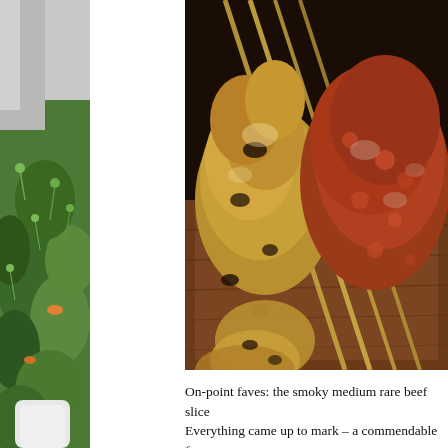[Figure (photo): Close-up photo of grilled satay skewers with yellow/turmeric-marinated meat and reddish sauce on a wooden board, with bamboo skewers visible at top]
[Figure (photo): Partial view of a fresh green salad with mixed herbs and microgreens in a bowl or plate, visible on the left edge]
On-point faves: the smoky medium rare beef slice Everything came up to mark – a commendable fe